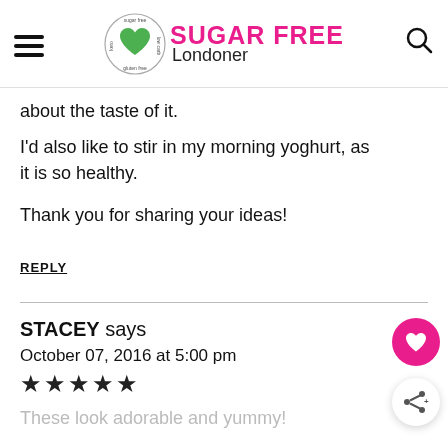Sugar Free Londoner
about the taste of it.
I'd also like to stir in my morning yoghurt, as it is so healthy.

Thank you for sharing your ideas!
REPLY
STACEY says
October 07, 2016 at 5:00 pm
★★★★★
These look adorable and yummy!